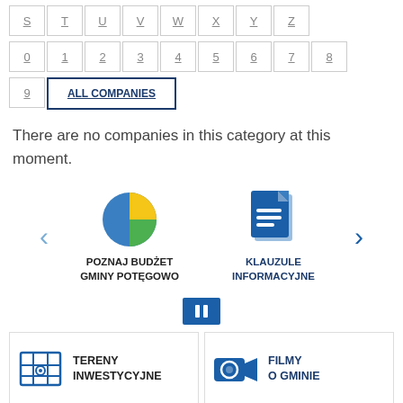S T U V W X Y Z
0 1 2 3 4 5 6 7 8
9  ALL COMPANIES
There are no companies in this category at this moment.
[Figure (infographic): Carousel with two items: a pie chart icon labeled POZNAJ BUDŻET GMINY POTĘGOWO and a document icon labeled KLAUZULE INFORMACYJNE, with left and right navigation arrows and a pause button below]
[Figure (infographic): Two bottom tile links: TERENY INWESTYCYJNE with a map icon, and FILMY O GMINIE with a camera icon]